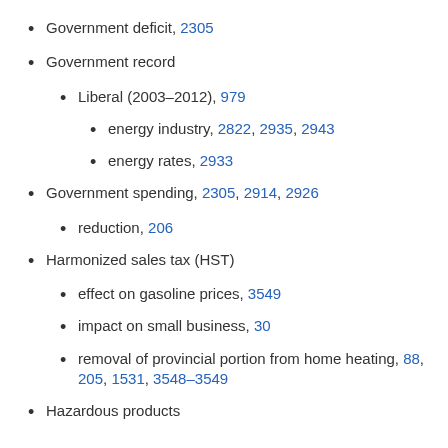Government deficit, 2305
Government record
Liberal (2003–2012), 979
energy industry, 2822, 2935, 2943
energy rates, 2933
Government spending, 2305, 2914, 2926
reduction, 206
Harmonized sales tax (HST)
effect on gasoline prices, 3549
impact on small business, 30
removal of provincial portion from home heating, 88, 205, 1531, 3548–3549
Hazardous products